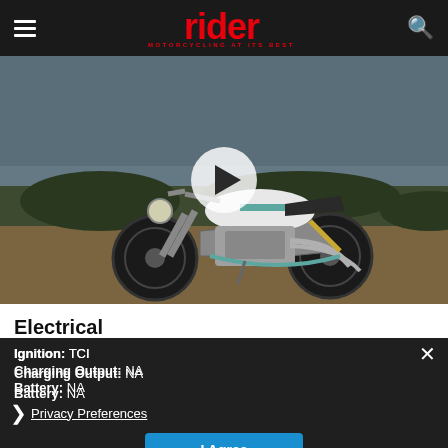rider — MOTORCYCLING AT ITS BEST
[Figure (photo): White and teal cafe racer motorcycle (Royal Enfield Continental GT type) parked on dirt with greenery and ocean in background. Video play button overlay visible in center.]
Electrical
Ignition: TCI
Charging Output: NA
Battery: NA
Privacy Preferences
I Agree